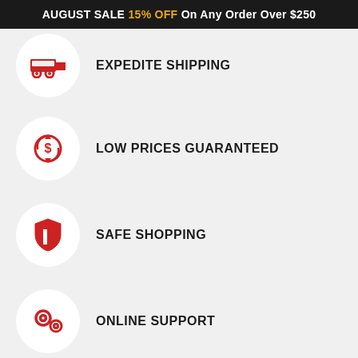AUGUST SALE 15% OFF On Any Order Over $250
EXPEDITE SHIPPING
LOW PRICES GUARANTEED
SAFE SHOPPING
ONLINE SUPPORT
CONTACT US